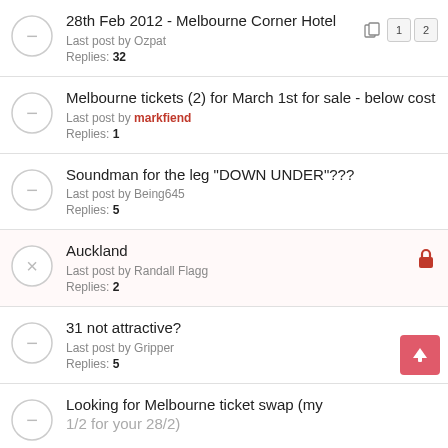28th Feb 2012 - Melbourne Corner Hotel
Last post by Ozpat
Replies: 32 [pages: 1 2]
Melbourne tickets (2) for March 1st for sale - below cost
Last post by markfiend
Replies: 1
Soundman for the leg "DOWN UNDER"???
Last post by Being645
Replies: 5
Auckland [locked]
Last post by Randall Flagg
Replies: 2
31 not attractive?
Last post by Gripper
Replies: 5
Looking for Melbourne ticket swap (my 1/2 for your 28/2)